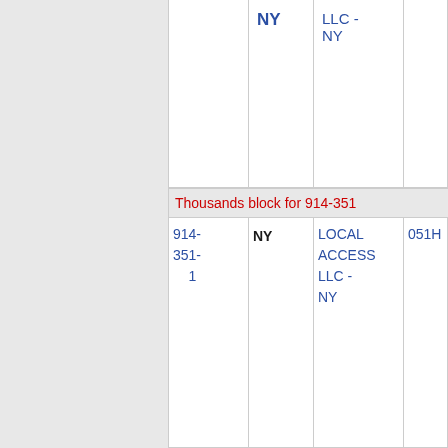| NPA-NXX-X | State | Company | Code | Name |
| --- | --- | --- | --- | --- |
|  |  | LLC -
NY |  |  |
| 914-
351-
    1 | NY | LOCAL
ACCESS
LLC -
NY | 051H | WSCHSTZNO... |